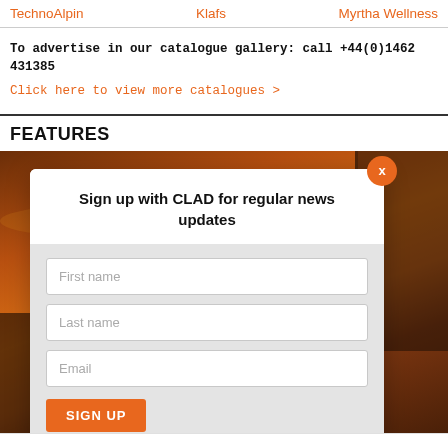TechnoAlpin   Klafs   Myrtha Wellness
To advertise in our catalogue gallery: call +44(0)1462 431385
Click here to view more catalogues >
FEATURES
[Figure (screenshot): Modal sign-up dialog overlaid on a sunset rooftop photo. Modal has title 'Sign up with CLAD for regular news updates', fields for First name, Last name, Email, and a SIGN UP button. An orange X close button appears top right of modal.]
Sign up with CLAD for regular news updates
First name
Last name
Email
SIGN UP